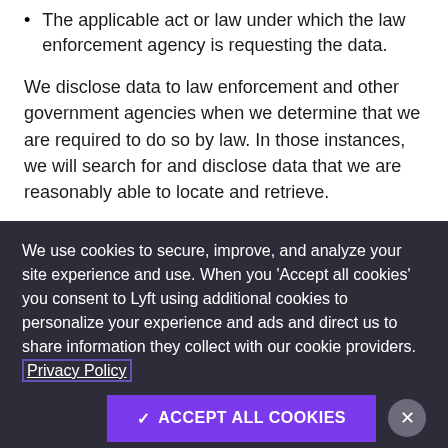The applicable act or law under which the law enforcement agency is requesting the data.
We disclose data to law enforcement and other government agencies when we determine that we are required to do so by law. In those instances, we will search for and disclose data that we are reasonably able to locate and retrieve.
We use cookies to secure, improve, and analyze your site experience and use. When you 'Accept all cookies' you consent to Lyft using additional cookies to personalize your experience and ads and direct us to share information they collect with our cookie providers. Privacy Policy
✓ ACCEPT ALL COOKIES